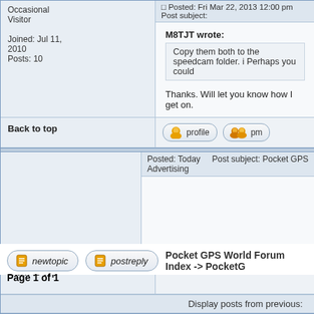Occasional Visitor
Joined: Jul 11, 2010
Posts: 10
Posted: Fri Mar 22, 2013 12:00 pm   Post subject:
M8TJT wrote:
Copy them both to the speedcam folder. i Perhaps you could
Thanks. Will let you know how I get on.
Back to top
Posted: Today   Post subject: Pocket GPS Advertising
Back to top
Display posts from previous:
Pocket GPS World Forum Index -> PocketG
Page 1 of 1